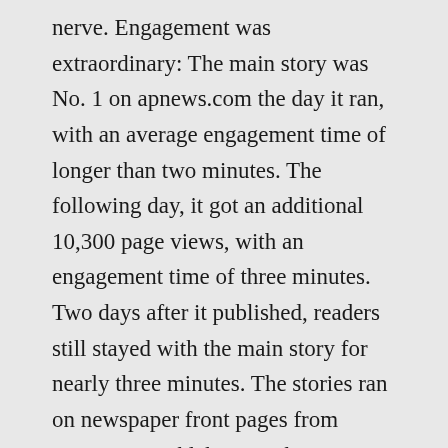nerve. Engagement was extraordinary: The main story was No. 1 on apnews.com the day it ran, with an average engagement time of longer than two minutes. The following day, it got an additional 10,300 page views, with an engagement time of three minutes. Two days after it published, readers still stayed with the main story for nearly three minutes. The stories ran on newspaper front pages from Vermont to Oklahoma, Ohio to Washington state. A week later, newspapers were still using it: It appeared in the Sunday Chicago Tribune and The Virginian-Pilot.
Hundreds sent emails and tweets. People who